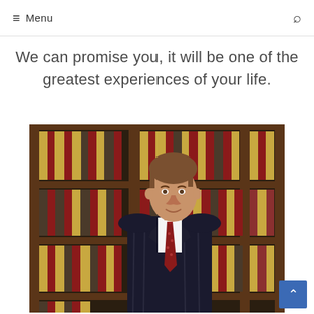Menu
We can promise you, it will be one of the greatest experiences of your life.
[Figure (photo): Professional attorney in dark suit and red tie standing in front of a large wooden bookshelf filled with law books]